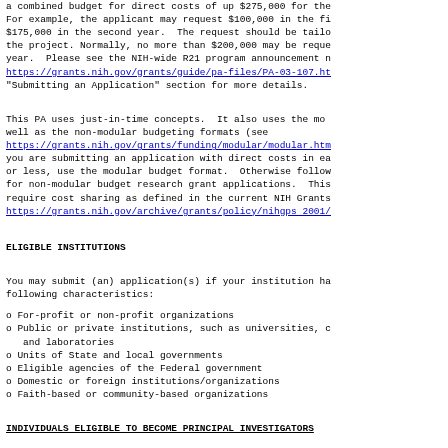a combined budget for direct costs of up $275,000 for the two-year period. For example, the applicant may request $100,000 in the first year and $175,000 in the second year. The request should be tailored to the needs of the project. Normally, no more than $200,000 may be requested in any single year. Please see the NIH-wide R21 program announcement noted above at https://grants.nih.gov/grants/guide/pa-files/PA-03-107.ht... "Submitting an Application" section for more details.
This PA uses just-in-time concepts. It also uses the modular as well as the non-modular budgeting formats (see https://grants.nih.gov/grants/funding/modular/modular.htm... you are submitting an application with direct costs in each year of $250,000 or less, use the modular budget format. Otherwise follow the instructions for non-modular budget research grant applications. This program does not require cost sharing as defined in the current NIH Grants Policy Statement https://grants.nih.gov/archive/grants/policy/nihgps 2001/...
ELIGIBLE INSTITUTIONS
You may submit (an) application(s) if your institution has any of the following characteristics:
o  For-profit or non-profit organizations
o  Public or private institutions, such as universities, colleges, hospitals, and laboratories
o  Units of State and local governments
o  Eligible agencies of the Federal government
o  Domestic or foreign institutions/organizations
o  Faith-based or community-based organizations
INDIVIDUALS ELIGIBLE TO BECOME PRINCIPAL INVESTIGATORS